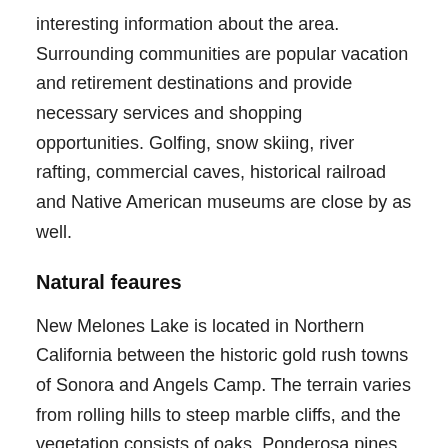interesting information about the area. Surrounding communities are popular vacation and retirement destinations and provide necessary services and shopping opportunities. Golfing, snow skiing, river rafting, commercial caves, historical railroad and Native American museums are close by as well.
Natural feaures
New Melones Lake is located in Northern California between the historic gold rush towns of Sonora and Angels Camp. The terrain varies from rolling hills to steep marble cliffs, and the vegetation consists of oaks, Ponderosa pines, chamise and buckbrush shrubs. Visitors can experience the beauty of New Melones by hiking the many trails in the Tuttletown and Glory Hole Recreation Areas. The climate is Mediterranean with warm, dry summers and cool, wet winters. For those who wish to venture outside the main recreation areas, there are many unique places to visit. Overall, the geography is quite varied and provides many opportunities for all types of recreation.